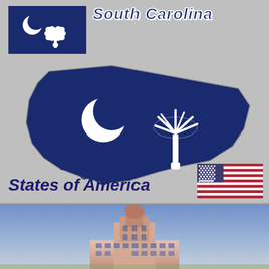[Figure (infographic): South Carolina state infographic with SC flag, state map outline filled with navy blue with white crescent moon and palmetto tree, text 'South Carolina' in italic bold, 'States of America' with US flag]
[Figure (photo): Photo of a building (likely South Carolina state capitol or notable landmark) against a blue sky, bottom strip]